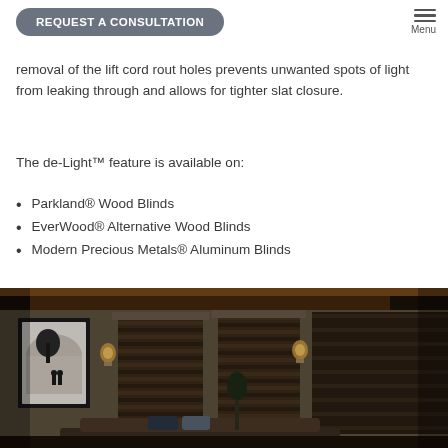REQUEST A CONSULTATION | Menu
removal of the lift cord rout holes prevents unwanted spots of light from leaking through and allows for tighter slat closure.
The de-Light™ feature is available on:
Parkland® Wood Blinds
EverWood® Alternative Wood Blinds
Modern Precious Metals® Aluminum Blinds
[Figure (photo): Interior room scene with dark wood blinds on multiple windows, a couch with decorative pillows, and a large black-and-white photograph on the wall, warmly lit from above.]